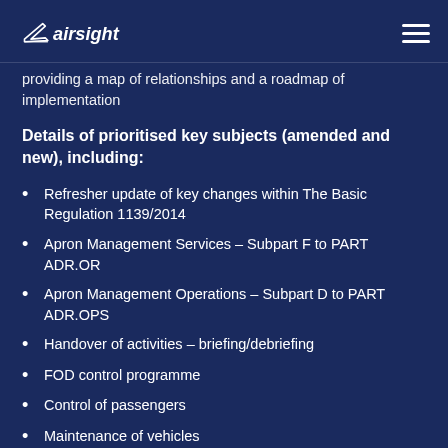airsight
providing a map of relationships and a roadmap of implementation
Details of prioritised key subjects (amended and new), including:
Refresher update of key changes within The Basic Regulation 1139/2014
Apron Management Services – Subpart F to PART ADR.OR
Apron Management Operations – Subpart D to PART ADR.OPS
Handover of activities – briefing/debriefing
FOD control programme
Control of passengers
Maintenance of vehicles